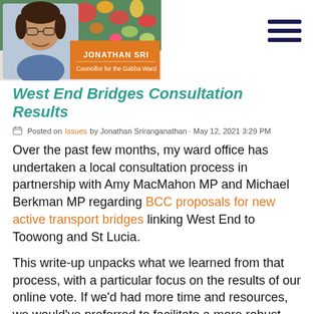[Figure (logo): Jonathan Sri - Councillor for the Gabba Ward logo with photo of man smiling, decorative floral background, orange banner with name text]
West End Bridges Consultation Results
Posted on Issues by Jonathan Sriranganathan · May 12, 2021 3:29 PM
Over the past few months, my ward office has undertaken a local consultation process in partnership with Amy MacMahon MP and Michael Berkman MP regarding BCC proposals for new active transport bridges linking West End to Toowong and St Lucia.
This write-up unpacks what we learned from that process, with a particular focus on the results of our online vote. If we'd had more time and resources, we would've preferred to facilitate a more robust and accessible community decision-making process